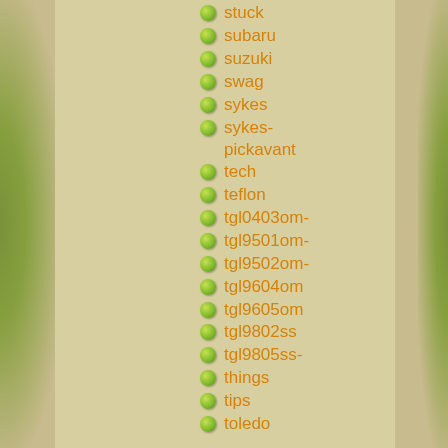stuck
subaru
suzuki
swag
sykes
sykes-pickavant
tech
teflon
tgl0403om-
tgl9501om-
tgl9502om-
tgl9604om
tgl9605om
tgl9802ss
tgl9805ss-
things
tips
toledo